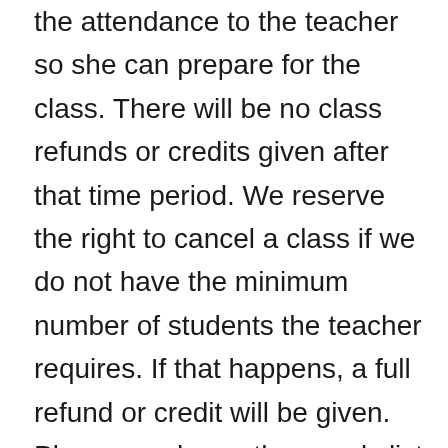the attendance to the teacher so she can prepare for the class. There will be no class refunds or credits given after that time period. We reserve the right to cancel a class if we do not have the minimum number of students the teacher requires. If that happens, a full refund or credit will be given. Please read over the supply list for the class completely to see what preparations or special products are needed for the class. Purchase your supplies prior to the class unless the supply list indicates differently.